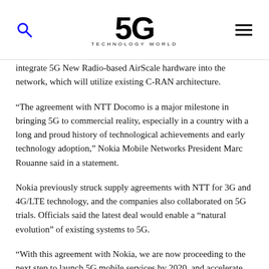5G TECHNOLOGY WORLD
integrate 5G New Radio-based AirScale hardware into the network, which will utilize existing C-RAN architecture.
“The agreement with NTT Docomo is a major milestone in bringing 5G to commercial reality, especially in a country with a long and proud history of technological achievements and early technology adoption,” Nokia Mobile Networks President Marc Rouanne said in a statement.
Nokia previously struck supply agreements with NTT for 3G and 4G/LTE technology, and the companies also collaborated on 5G trials. Officials said the latest deal would enable a “natural evolution” of existing systems to 5G.
“With this agreement with Nokia, we are now proceeding to the next step to launch 5G mobile services by 2020, and accelerate co-creation of new services and businesses with vertical industry